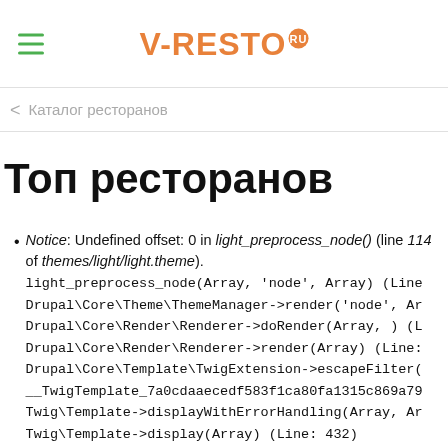V-RESTO.RU
< Каталог ресторанов
Топ ресторанов
Notice: Undefined offset: 0 in light_preprocess_node() (line 114 of themes/light/light.theme). light_preprocess_node(Array, 'node', Array) (Line... Drupal\Core\Theme\ThemeManager->render('node', Ar... Drupal\Core\Render\Renderer->doRender(Array, ) (L... Drupal\Core\Render\Renderer->render(Array) (Line:... Drupal\Core\Template\TwigExtension->escapeFilter(... __TwigTemplate_7a0cdaaecedf583f1ca80fa1315c869a79... Twig\Template->displayWithErrorHandling(Array, Ar... Twig\Template->display(Array) (Line: 432)